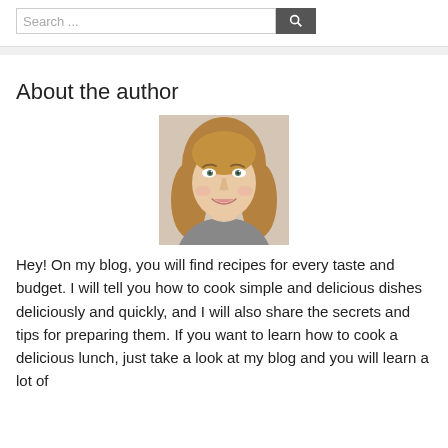[Figure (other): Search bar with text input field showing 'Search...' placeholder and a dark search button with magnifying glass icon]
About the author
[Figure (photo): Portrait photo of a young blonde woman smiling, light background]
Hey! On my blog, you will find recipes for every taste and budget. I will tell you how to cook simple and delicious dishes deliciously and quickly, and I will also share the secrets and tips for preparing them. If you want to learn how to cook a delicious lunch, just take a look at my blog and you will learn a lot of